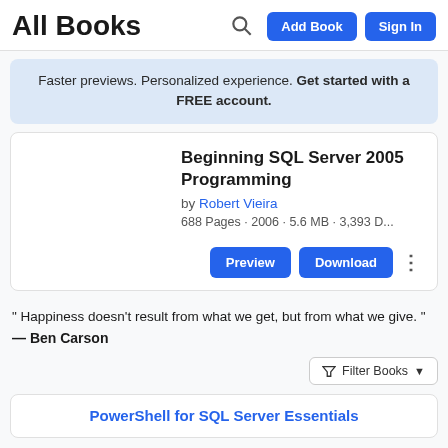All Books
Faster previews. Personalized experience. Get started with a FREE account.
Beginning SQL Server 2005 Programming by Robert Vieira 688 Pages · 2006 · 5.6 MB · 3,393 D...
" Happiness doesn't result from what we get, but from what we give. " — Ben Carson
Filter Books
PowerShell for SQL Server Essentials